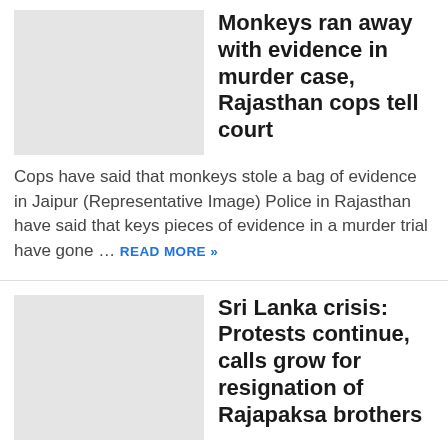[Figure (photo): Placeholder image for monkey evidence story]
Monkeys ran away with evidence in murder case, Rajasthan cops tell court
Cops have said that monkeys stole a bag of evidence in Jaipur (Representative Image) Police in Rajasthan have said that keys pieces of evidence in a murder trial have gone … READ MORE »
[Figure (photo): Placeholder image for Sri Lanka crisis story]
Sri Lanka crisis: Protests continue, calls grow for resignation of Rajapaksa brothers
Sri Lankan Prime Minister Mahinda Rajapaksa is facing renewed pressure to quit amid the country's crippling economic crisis, news agency PTI has reported. Government sources said that at a